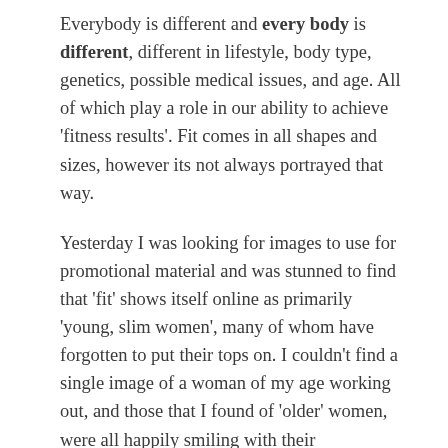Everybody is different and every body is different, different in lifestyle, body type, genetics, possible medical issues, and age. All of which play a role in our ability to achieve 'fitness results'. Fit comes in all shapes and sizes, however its not always portrayed that way.
Yesterday I was looking for images to use for promotional material and was stunned to find that 'fit' shows itself online as primarily 'young, slim women', many of whom have forgotten to put their tops on. I couldn't find a single image of a woman of my age working out, and those that I found of 'older' women, were all happily smiling with their